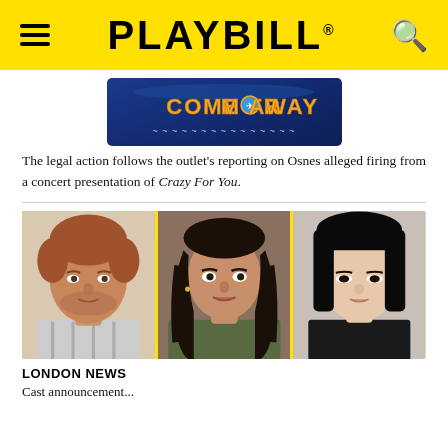PLAYBILL
[Figure (logo): Come From Away musical advertisement banner with blue background and yellow/orange text]
The legal action follows the outlet's reporting on Osnes alleged firing from a concert presentation of Crazy For You.
[Figure (photo): Three headshots side by side: a man with reddish hair and beard wearing a striped shirt, a woman with long dark wavy hair, and an Asian woman with straight black hair against a gray background]
LONDON NEWS
Cast announcement teaser text partially visible